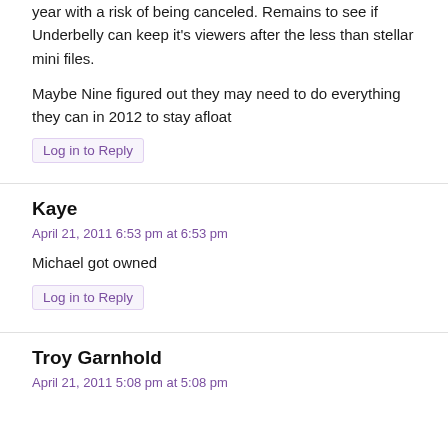year with a risk of being canceled. Remains to see if Underbelly can keep it's viewers after the less than stellar mini files.
Maybe Nine figured out they may need to do everything they can in 2012 to stay afloat
Log in to Reply
Kaye
April 21, 2011 6:53 pm at 6:53 pm
Michael got owned
Log in to Reply
Troy Garnhold
April 21, 2011 5:08 pm at 5:08 pm